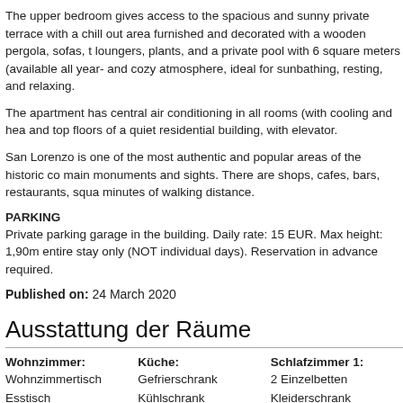The upper bedroom gives access to the spacious and sunny private terrace with a chill out area furnished and decorated with a wooden pergola, sofas, loungers, plants, and a private pool with 6 square meters (available all year-) and cozy atmosphere, ideal for sunbathing, resting, and relaxing.
The apartment has central air conditioning in all rooms (with cooling and hea and top floors of a quiet residential building, with elevator.
San Lorenzo is one of the most authentic and popular areas of the historic c main monuments and sights. There are shops, cafes, bars, restaurants, squ minutes of walking distance.
PARKING
Private parking garage in the building. Daily rate: 15 EUR. Max height: 1,90m entire stay only (NOT individual days). Reservation in advance required.
Published on: 24 March 2020
Ausstattung der Räume
| Wohnzimmer: | Küche: | Schlafzimmer 1: |
| --- | --- | --- |
| Wohnzimmertisch | Gefrierschrank | 2 Einzelbetten |
| Esstisch | Kühlschrank | Kleiderschrank |
| Stühle | Ofen |  |
| Sofa | Geschirrspülmaschine |  |
| Fernseher | Mikrowelle |  |